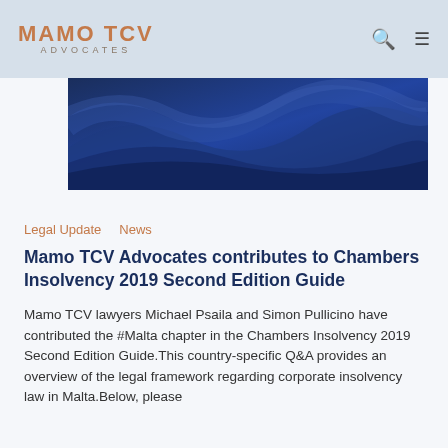MAMO TCV ADVOCATES
[Figure (photo): Abstract dark blue wave background image used as article hero image]
Legal Update  News
Mamo TCV Advocates contributes to Chambers Insolvency 2019 Second Edition Guide
Mamo TCV lawyers Michael Psaila and Simon Pullicino have contributed the #Malta chapter in the Chambers Insolvency 2019 Second Edition Guide.This country-specific Q&A provides an overview of the legal framework regarding corporate insolvency law in Malta.Below, please